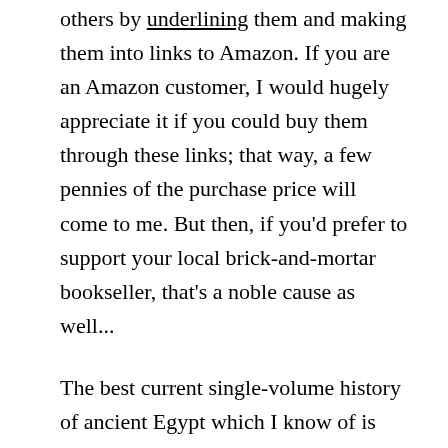others by underlining them and making them into links to Amazon. If you are an Amazon customer, I would hugely appreciate it if you could buy them through these links; that way, a few pennies of the purchase price will come to me. But then, if you'd prefer to support your local brick-and-mortar bookseller, that's a noble cause as well...
The best current single-volume history of ancient Egypt which I know of is Toby Wilkinson's The Rise and Fall of Ancient Egypt. That might be a good place to start. In the end, though, all of the linked-and-underlined books are worthy and enjoyable reads. By all means, explore wherever